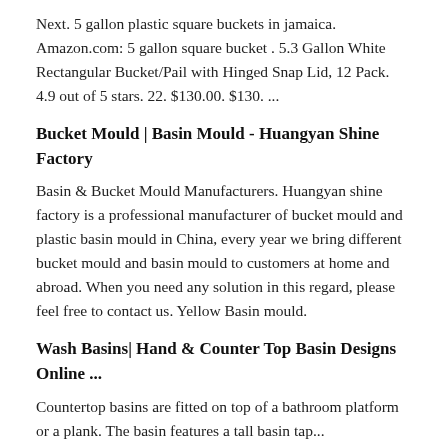Next. 5 gallon plastic square buckets in jamaica. Amazon.com: 5 gallon square bucket . 5.3 Gallon White Rectangular Bucket/Pail with Hinged Snap Lid, 12 Pack. 4.9 out of 5 stars. 22. $130.00. $130. ...
Bucket Mould | Basin Mould - Huangyan Shine Factory
Basin & Bucket Mould Manufacturers. Huangyan shine factory is a professional manufacturer of bucket mould and plastic basin mould in China, every year we bring different bucket mould and basin mould to customers at home and abroad. When you need any solution in this regard, please feel free to contact us. Yellow Basin mould.
Wash Basins| Hand & Counter Top Basin Designs Online ...
Countertop basins are fitted on top of a bathroom platform or a plank. The basin features a tall basin tap...